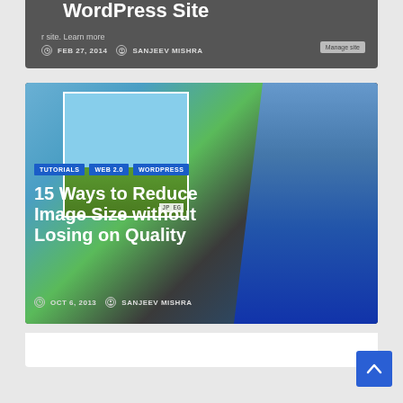[Figure (screenshot): Top partial article card showing WordPress Site title, date FEB 27, 2014, author SANJEEV MISHRA, with dark gray background and Manage site button]
[Figure (screenshot): Article card for '15 Ways to Reduce Image Size without Losing on Quality' with tags TUTORIALS, WEB 2.0, WORDPRESS, date OCT 6, 2013, author SANJEEV MISHRA, JPEG zip tool graphic background]
[Figure (other): Blue scroll-to-top button with upward arrow chevron in bottom right corner]